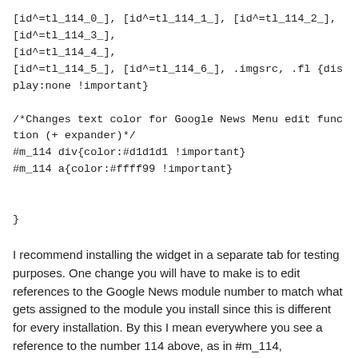[id^=tl_114_0_], [id^=tl_114_1_], [id^=tl_114_2_], [id^=tl_114_3_],
[id^=tl_114_4_],
[id^=tl_114_5_], [id^=tl_114_6_], .imgsrc, .fl {display:none !important}

/*Changes text color for Google News Menu edit function (+ expander)*/
#m_114 div{color:#d1d1d1 !important}
#m_114 a{color:#ffff99 !important}


}
I recommend installing the widget in a separate tab for testing purposes. One change you will have to make is to edit references to the Google News module number to match what gets assigned to the module you install since this is different for every installation. By this I mean everywhere you see a reference to the number 114 above, as in #m_114, id^=tl_114_0, etc., change it to match the number assigned to your Google News module.
You can easily determine this number for your module by installing the